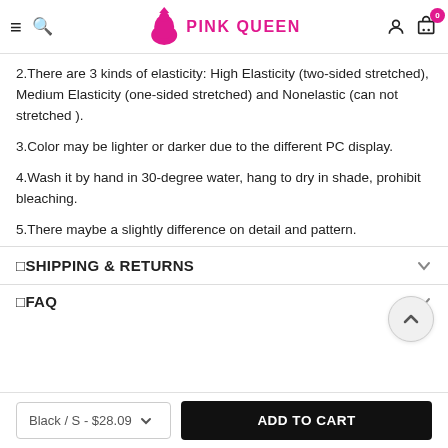PINK QUEEN
2.There are 3 kinds of elasticity: High Elasticity (two-sided stretched), Medium Elasticity (one-sided stretched) and Nonelastic (can not stretched ).
3.Color may be lighter or darker due to the different PC display.
4.Wash it by hand in 30-degree water, hang to dry in shade, prohibit bleaching.
5.There maybe a slightly difference on detail and pattern.
SHIPPING & RETURNS
FAQ
Black / S - $28.09
ADD TO CART